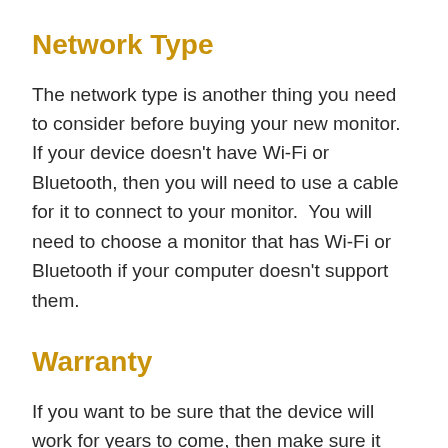Network Type
The network type is another thing you need to consider before buying your new monitor. If your device doesn't have Wi-Fi or Bluetooth, then you will need to use a cable for it to connect to your monitor.  You will need to choose a monitor that has Wi-Fi or Bluetooth if your computer doesn't support them.
Warranty
If you want to be sure that the device will work for years to come, then make sure it comes with a warranty, and that the device is…